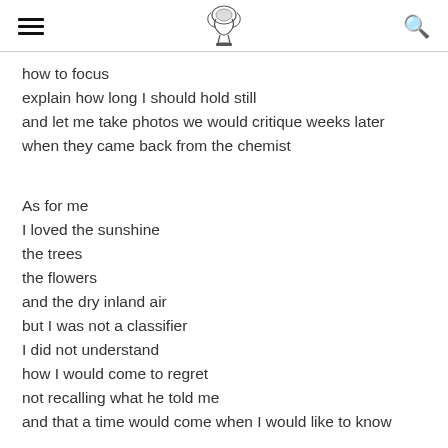≡  [logo icon]  🔍
how to focus
explain how long I should hold still
and let me take photos we would critique weeks later
when they came back from the chemist

As for me
I loved the sunshine
the trees
the flowers
and the dry inland air
but I was not a classifier
I did not understand
how I would come to regret
not recalling what he told me
and that a time would come when I would like to know